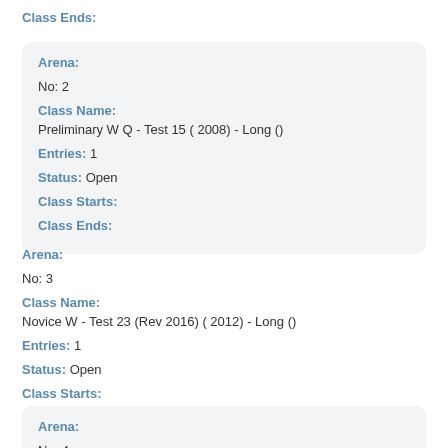Class Ends:
Arena:
No: 2
Class Name:
Preliminary W Q - Test 15 ( 2008) - Long ()
Entries: 1
Status: Open
Class Starts:
Class Ends:
Arena:
No: 3
Class Name:
Novice W - Test 23 (Rev 2016) ( 2012) - Long ()
Entries: 1
Status: Open
Class Starts:
Class Ends:
Arena:
No: 4